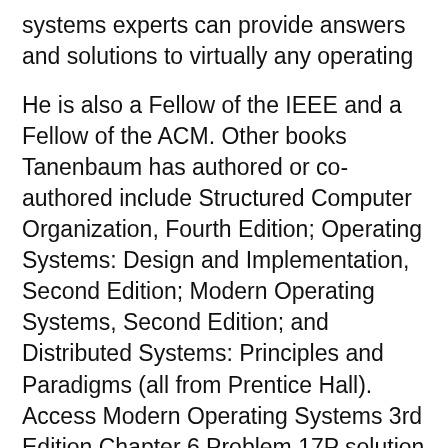systems experts can provide answers and solutions to virtually any operating
He is also a Fellow of the IEEE and a Fellow of the ACM. Other books Tanenbaum has authored or co-authored include Structured Computer Organization, Fourth Edition; Operating Systems: Design and Implementation, Second Edition; Modern Operating Systems, Second Edition; and Distributed Systems: Principles and Paradigms (all from Prentice Hall). Access Modern Operating Systems 3rd Edition Chapter 6 Problem 17P solution now. Our solutions are written by Chegg experts so you can be assured of the highest quality!